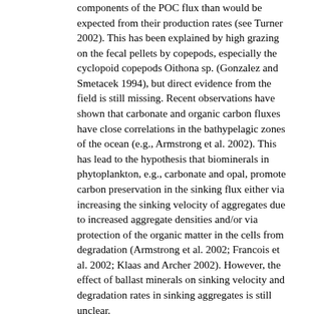components of the POC flux than would be expected from their production rates (see Turner 2002). This has been explained by high grazing on the fecal pellets by copepods, especially the cyclopoid copepods Oithona sp. (Gonzalez and Smetacek 1994), but direct evidence from the field is still missing. Recent observations have shown that carbonate and organic carbon fluxes have close correlations in the bathypelagic zones of the ocean (e.g., Armstrong et al. 2002). This has lead to the hypothesis that biominerals in phytoplankton, e.g., carbonate and opal, promote carbon preservation in the sinking flux either via increasing the sinking velocity of aggregates due to increased aggregate densities and/or via protection of the organic matter in the cells from degradation (Armstrong et al. 2002; Francois et al. 2002; Klaas and Archer 2002). However, the effect of ballast minerals on sinking velocity and degradation rates in sinking aggregates is still unclear. Vertical profiles of particulate organic carbon (POC) often show exponential decline with increasing depth (Martin et al. 1987; Schlitzer 2000; Suess 1980), indicating that most of the POC is decomposed in the surface ocean. Therefore, the surface ocean is likely to have the most intensive degradation of marine aggregates. In